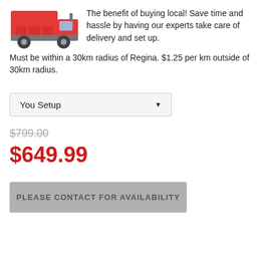[Figure (illustration): Red delivery truck illustration]
The benefit of buying local! Save time and hassle by having our experts take care of delivery and set up. Must be within a 30km radius of Regina. $1.25 per km outside of 30km radius.
[Figure (screenshot): Dropdown selector showing 'You Setup' option]
$799.00 (strikethrough original price)
$649.99 (sale price in red)
PLEASE CONTACT FOR AVAILABILITY